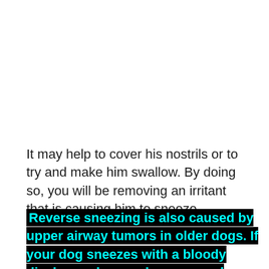It may help to cover his nostrils or to try and make him swallow. By doing so, you will be removing an irritant that is causing him to sneeze.
Reverse sneezing is also caused by upper airway tumors in older dogs. If your dog sneezes with a bloody discharge, he may have a nasal tumor.